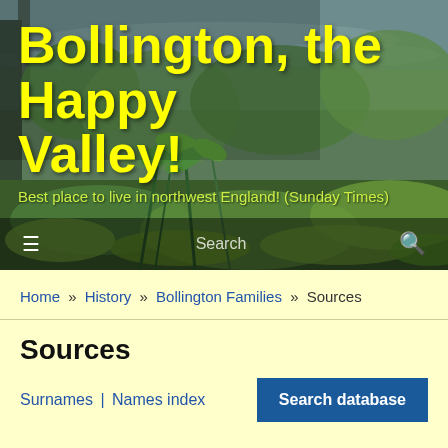[Figure (photo): Outdoor nature/garden scene with pond water and green plants, serving as hero banner background]
Bollington, the Happy Valley!
Best place to live in northwest England! (Sunday Times)
Search
Home » History » Bollington Families » Sources
Sources
Surnames | Names index
Search database